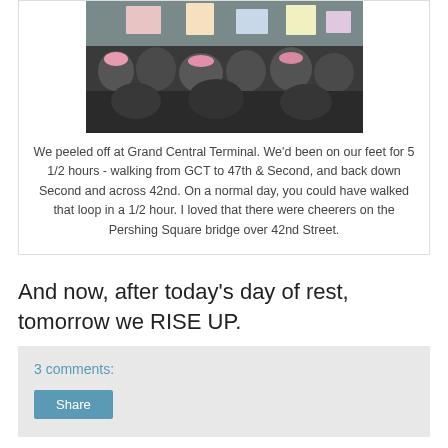[Figure (photo): Crowd at a march holding signs, viewed from behind, many people wearing winter clothing and pink hats]
We peeled off at Grand Central Terminal. We'd been on our feet for 5 1/2 hours - walking from GCT to 47th & Second, and back down Second and across 42nd. On a normal day, you could have walked that loop in a 1/2 hour. I loved that there were cheerers on the Pershing Square bridge over 42nd Street.
And now, after today’s day of rest, tomorrow we RISE UP.
3 comments:
Share
20 January 2017
The welfare of each of us is dependent fundamentally upon the welfare of all of